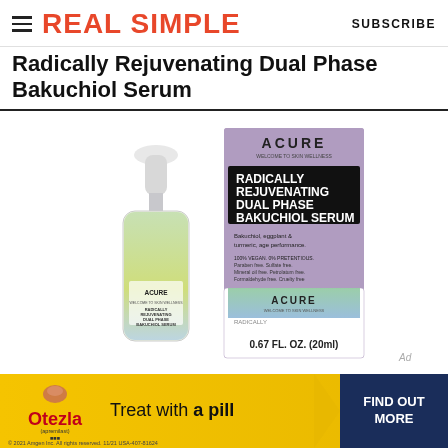REAL SIMPLE | SUBSCRIBE
Radically Rejuvenating Dual Phase Bakuchiol Serum
[Figure (photo): Product photo of Acure Radically Rejuvenating Dual Phase Bakuchiol Serum bottle and box. The bottle is a clear dropper bottle with green/yellow gradient liquid. The box is purple with the product name and ingredient details listed. 0.67 FL. OZ. (20ml).]
[Figure (photo): Advertisement banner for Otezla (apremilast). Yellow background with Otezla logo, tagline 'Treat with a pill', arrow graphic, and blue 'FIND OUT MORE' button. Bottom text: © 2021 Amgen Inc. All rights reserved. 11/21 USA-407-81624]